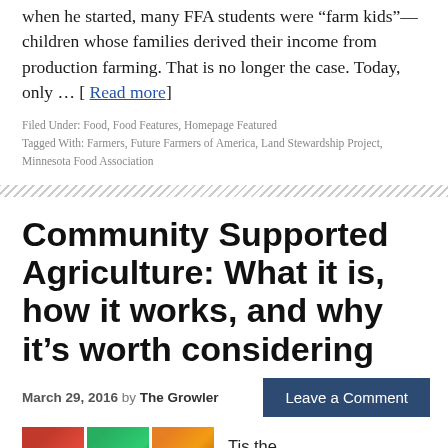when he started, many FFA students were “farm kids”—children whose families derived their income from production farming. That is no longer the case. Today, only … [ Read more]
Filed Under: Food, Food Features, Homepage Featured
Tagged With: Farmers, Future Farmers of America, Land Stewardship Project, Minnesota Food Association
Community Supported Agriculture: What it is, how it works, and why it’s worth considering
March 29, 2016 by The Growler
Leave a Comment
Tis the